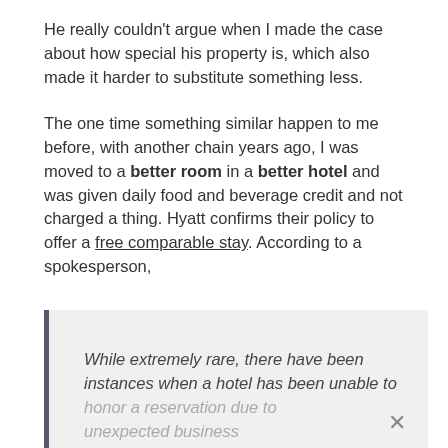He really couldn't argue when I made the case about how special his property is, which also made it harder to substitute something less.
The one time something similar happen to me before, with another chain years ago, I was moved to a better room in a better hotel and was given daily food and beverage credit and not charged a thing. Hyatt confirms their policy to offer a free comparable stay. According to a spokesperson,
While extremely rare, there have been instances when a hotel has been unable to honor a reservation due to unexpected business